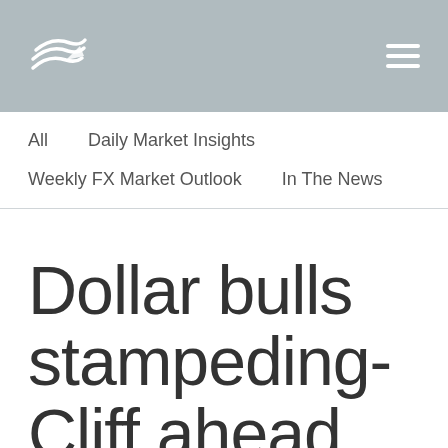[Figure (logo): Company logo with swoosh/wave lines in white on gray background header area]
All   Daily Market Insights
Weekly FX Market Outlook   In The News
Dollar bulls stampeding-Cliff ahead